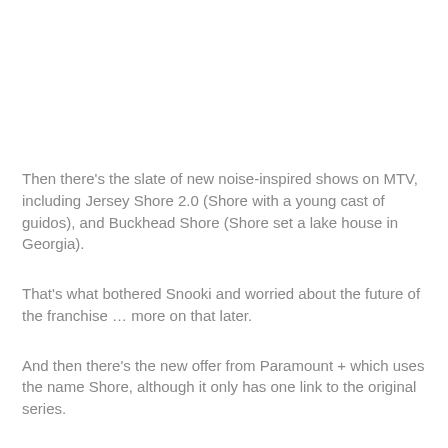Then there's the slate of new noise-inspired shows on MTV, including Jersey Shore 2.0 (Shore with a young cast of guidos), and Buckhead Shore (Shore set a lake house in Georgia).
That's what bothered Snooki and worried about the future of the franchise … more on that later.
And then there's the new offer from Paramount + which uses the name Shore, although it only has one link to the original series.